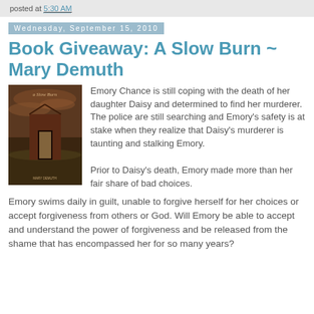posted at 5:30 AM
Wednesday, September 15, 2010
Book Giveaway: A Slow Burn ~ Mary Demuth
[Figure (photo): Book cover of 'A Slow Burn' by Mary DeMuth, showing a dark rustic barn door with dramatic sky]
Emory Chance is still coping with the death of her daughter Daisy and determined to find her murderer. The police are still searching and Emory's safety is at stake when they realize that Daisy's murderer is taunting and stalking Emory.

Prior to Daisy's death, Emory made more than her fair share of bad choices. Emory swims daily in guilt, unable to forgive herself for her choices or accept forgiveness from others or God. Will Emory be able to accept and understand the power of forgiveness and be released from the shame that has encompassed her for so many years?